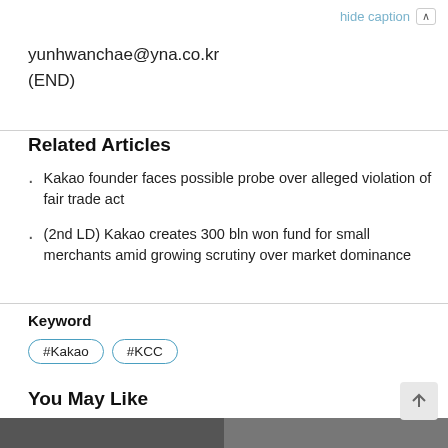hide caption ∧
yunhwanchae@yna.co.kr
(END)
Related Articles
Kakao founder faces possible probe over alleged violation of fair trade act
(2nd LD) Kakao creates 300 bln won fund for small merchants amid growing scrutiny over market dominance
Keyword
#Kakao  #KCC
You May Like
[Figure (photo): Two partial photo thumbnails at the bottom of the page]